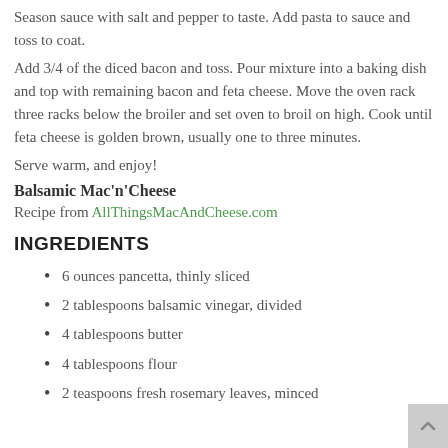Season sauce with salt and pepper to taste. Add pasta to sauce and toss to coat.
Add 3/4 of the diced bacon and toss. Pour mixture into a baking dish and top with remaining bacon and feta cheese. Move the oven rack three racks below the broiler and set oven to broil on high. Cook until feta cheese is golden brown, usually one to three minutes.
Serve warm, and enjoy!
Balsamic Mac'n'Cheese
Recipe from AllThingsMacAndCheese.com
INGREDIENTS
6 ounces pancetta, thinly sliced
2 tablespoons balsamic vinegar, divided
4 tablespoons butter
4 tablespoons flour
2 teaspoons fresh rosemary leaves, minced